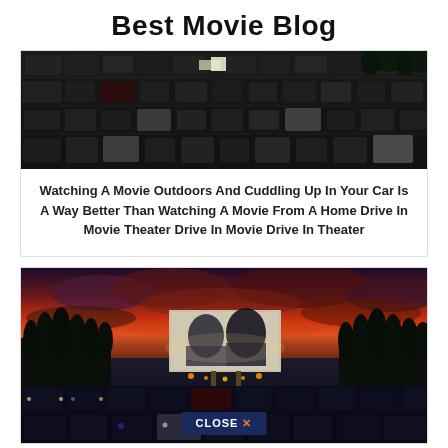Best Movie Blog
[Figure (photo): Aerial/overhead view of a packed drive-in movie theater parking lot at night, showing rows of cars from above]
Watching A Movie Outdoors And Cuddling Up In Your Car Is A Way Better Than Watching A Movie From A Home Drive In Movie Theater Drive In Movie Drive In Theater
[Figure (photo): Drive-in movie theater at dusk/night with a dramatic red and purple sunset sky, movie screen showing two figures, rows of cars in foreground, trees lining the sides, with a CLOSE X button overlay at the bottom]